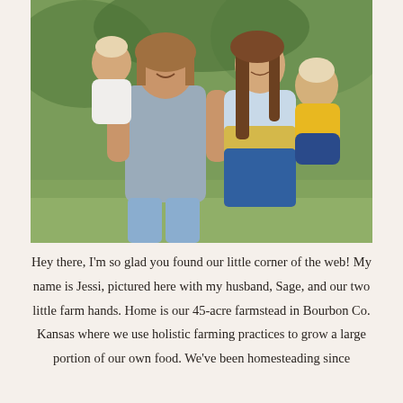[Figure (photo): A family photo of a man and woman outdoors in a park-like setting with green trees in background. The man holds a young toddler girl in a white dress on his left, and the woman holds a baby in a yellow top and denim skirt on her right. Both adults are smiling.]
Hey there, I'm so glad you found our little corner of the web! My name is Jessi, pictured here with my husband, Sage, and our two little farm hands. Home is our 45-acre farmstead in Bourbon Co. Kansas where we use holistic farming practices to grow a large portion of our own food. We've been homesteading since